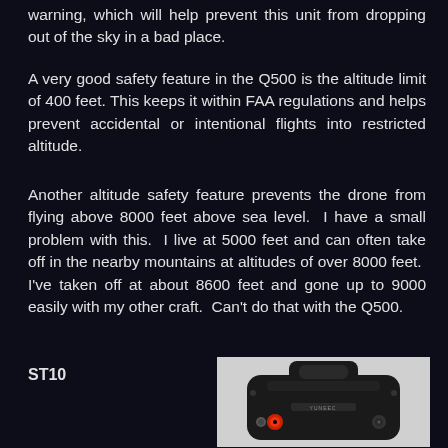warning, which will help prevent this unit from dropping out of the sky in a bad place.
A very good safety feature in the Q500 is the altitude limit of 400 feet. This keeps it within FAA regulations and helps prevent accidental or intentional flights into restricted altitude.
Another altitude safety feature prevents the drone from flying above 8000 feet above sea level. I have a small problem with this. I live at 5000 feet and can often take off in the nearby mountains at altitudes of over 8000 feet. I've taken off at about 8600 feet and gone up to 9000 easily with my other craft. Can't do that with the Q500.
ST10
[Figure (photo): Photo of a Yuneec ST10 drone controller/transmitter, black device with handle on top, red and grey buttons visible, YUNEEC branding on front]